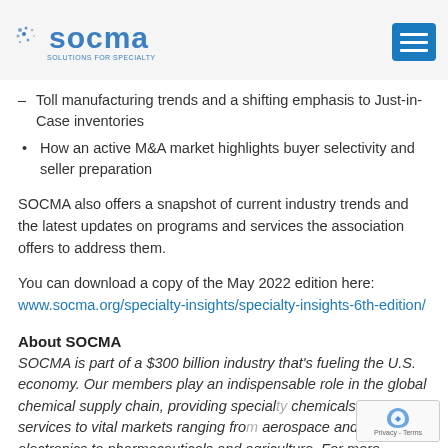SOCMA · SOLUTIONS FOR SPECIALTY
Toll manufacturing trends and a shifting emphasis to Just-in-Case inventories
How an active M&A market highlights buyer selectivity and seller preparation
SOCMA also offers a snapshot of current industry trends and the latest updates on programs and services the association offers to address them.
You can download a copy of the May 2022 edition here: www.socma.org/specialty-insights/specialty-insights-6th-edition/
About SOCMA
SOCMA is part of a $300 billion industry that's fueling the U.S. economy. Our members play an indispensable role in the global chemical supply chain, providing specialty chemicals and services to vital markets ranging from aerospace and electronics to pharmaceuticals and agriculture. For more information about this innovative